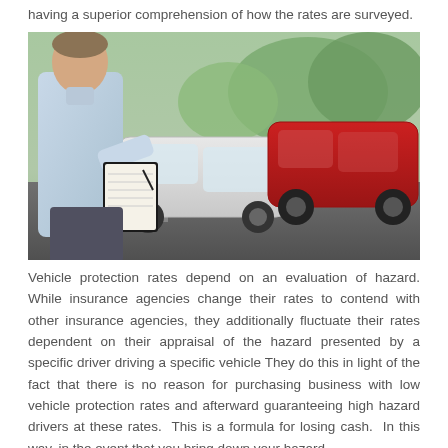having a superior comprehension of how the rates are surveyed.
[Figure (photo): An insurance agent holding a clipboard and pen, standing in front of two cars involved in a collision — a white car and a red car — on a road.]
Vehicle protection rates depend on an evaluation of hazard. While insurance agencies change their rates to contend with other insurance agencies, they additionally fluctuate their rates dependent on their appraisal of the hazard presented by a specific driver driving a specific vehicle They do this in light of the fact that there is no reason for purchasing business with low vehicle protection rates and afterward guaranteeing high hazard drivers at these rates. This is a formula for losing cash. In this way, in the event that you bring down your hazard,